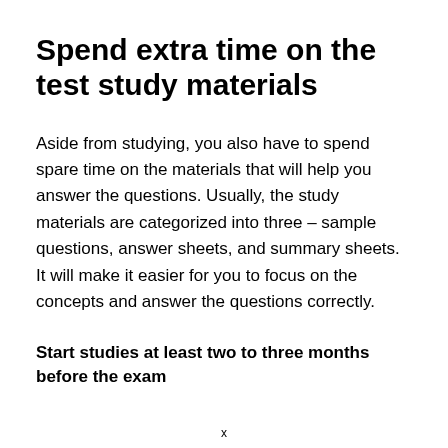Spend extra time on the test study materials
Aside from studying, you also have to spend spare time on the materials that will help you answer the questions. Usually, the study materials are categorized into three – sample questions, answer sheets, and summary sheets. It will make it easier for you to focus on the concepts and answer the questions correctly.
Start studies at least two to three months before the exam